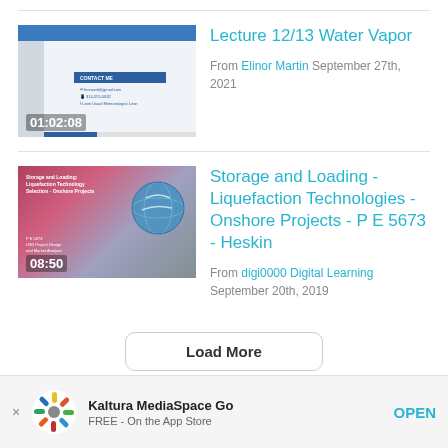[Figure (screenshot): Thumbnail of a lecture video showing a contact info slide with CONTACT ME header, email and phone, duration 01:02:08]
Lecture 12/13 Water Vapor
From Elinor Martin September 27th, 2021
[Figure (screenshot): Thumbnail of a video about Storage and Loading Liquefaction Technology Selection Onshore Projects, LNG Project Design and Market Analysis, duration 08:50]
Storage and Loading - Liquefaction Technologies - Onshore Projects - P E 5673 - Heskin
From digi0000 Digital Learning September 20th, 2019
Load More
Kaltura MediaSpace Go
FREE - On the App Store
OPEN